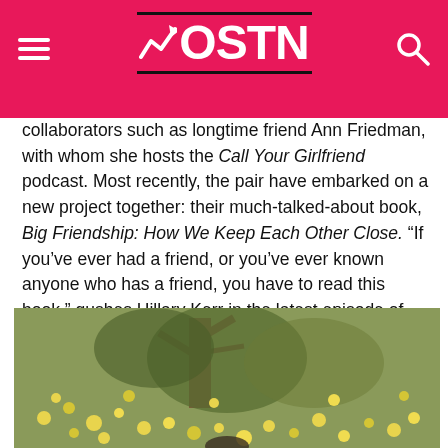MOSTN
collaborators such as longtime friend Ann Friedman, with whom she hosts the Call Your Girlfriend podcast. Most recently, the pair have embarked on a new project together: their much-talked-about book, Big Friendship: How We Keep Each Other Close. “If you’ve ever had a friend, or you’ve ever known anyone who has a friend, you have to read this book,” gushes Hillary Kerr in the latest episode of Second Life.
[Figure (photo): Outdoor photo of a person surrounded by yellow flowering plants and trees in the background]